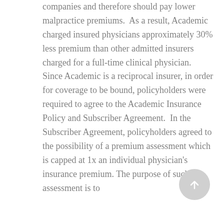companies and therefore should pay lower malpractice premiums.  As a result, Academic charged insured physicians approximately 30% less premium than other admitted insurers charged for a full-time clinical physician.  Since Academic is a reciprocal insurer, in order for coverage to be bound, policyholders were required to agree to the Academic Insurance Policy and Subscriber Agreement.  In the Subscriber Agreement, policyholders agreed to the possibility of a premium assessment which is capped at 1x an individual physician's insurance premium. The purpose of such an assessment is to